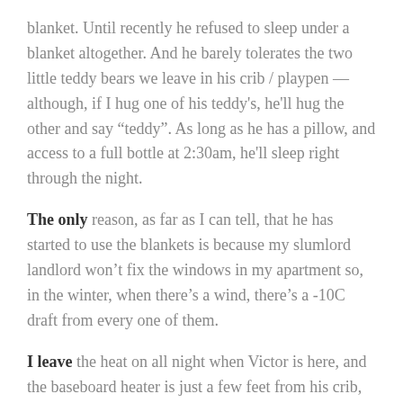blanket. Until recently he refused to sleep under a blanket altogether. And he barely tolerates the two little teddy bears we leave in his crib / playpen — although, if I hug one of his teddy's, he'll hug the other and say "teddy". As long as he has a pillow, and access to a full bottle at 2:30am, he'll sleep right through the night.
The only reason, as far as I can tell, that he has started to use the blankets is because my slumlord landlord won't fix the windows in my apartment so, in the winter, when there's a wind, there's a -10C draft from every one of them.
I leave the heat on all night when Victor is here, and the baseboard heater is just a few feet from his crib, but still… when there's a wind, the curtains move.
Which also freaks the cat out.